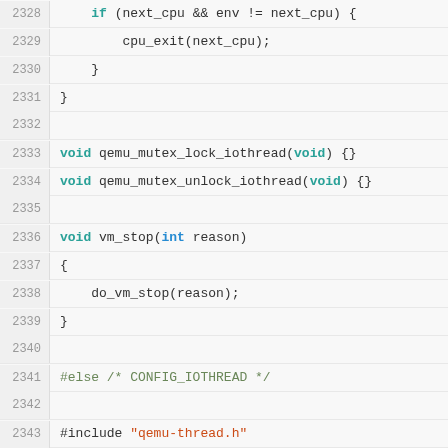[Figure (screenshot): Source code listing showing C code with line numbers 2328-2354, including functions qemu_mutex_lock_iothread, qemu_mutex_unlock_iothread, vm_stop, and preprocessor directives #else CONFIG_IOTHREAD, #include qemu-thread.h, and variable declarations for QemuMutex, QemuThread, QemuCond types.]